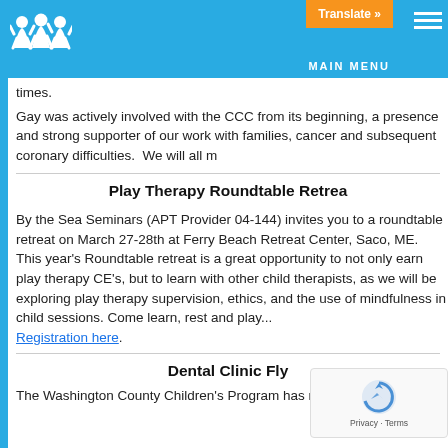Translate » MAIN MENU
times.
Gay was actively involved with the CCC from its beginning, a presence and strong supporter of our work with families, cancer and subsequent coronary difficulties. We will all m
Play Therapy Roundtable Retrea
By the Sea Seminars (APT Provider 04-144) invites you to a roundtable retreat on March 27-28th at Ferry Beach Retreat Center, Saco, ME. This year's Roundtable retreat is a great opportunity to not only earn play therapy CE's, but to learn with other child therapists, as we will be exploring play therapy supervision, ethics, and the use of mindfulness in child sessions. Come learn, rest and play... Registration here.
Dental Clinic Fly
The Washington County Children's Program has release